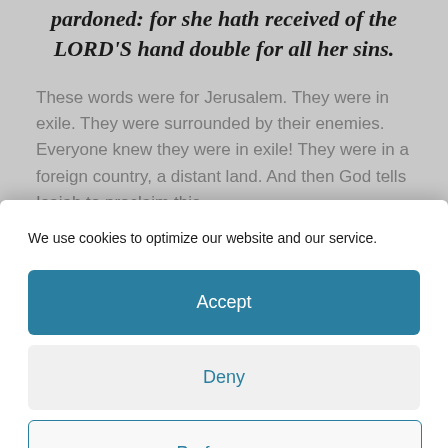pardoned: for she hath received of the LORD'S hand double for all her sins.
These words were for Jerusalem. They were in exile. They were surrounded by their enemies. Everyone knew they were in exile! They were in a foreign country, a distant land. And then God tells Isaiah to proclaim this
We use cookies to optimize our website and our service.
Accept
Deny
Preferences
Cookie Policy